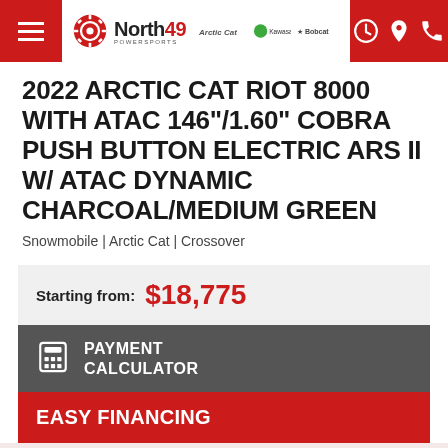North49 Powersports — Navigation bar with logo and icons
2022 ARCTIC CAT RIOT 8000 WITH ATAC 146"/1.60" COBRA PUSH BUTTON ELECTRIC ARS II W/ ATAC DYNAMIC CHARCOAL/MEDIUM GREEN
Snowmobile | Arctic Cat | Crossover
Starting from: $18,775
PAYMENT CALCULATOR
EASY FINANCING
ASK FOR A PRE-APPROVAL — GET THE BEST ARCTIC CAT DEAL